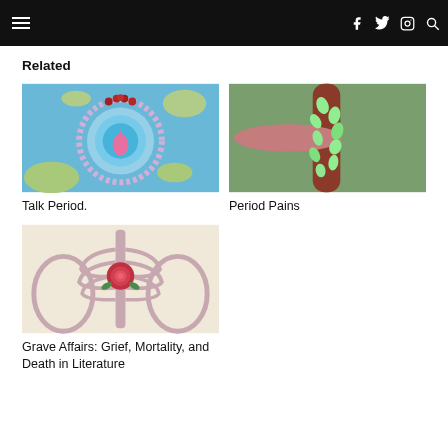Navigation bar with hamburger menu and social icons (Facebook, Twitter, Instagram, Search)
Related
[Figure (illustration): Illustrated image of a teardrop/blood drop with concentric circles and decorative border on blue background, symbolizing menstruation]
Talk Period.
[Figure (illustration): Illustrated image of intertwined branches or limbs with green leaf-like shapes on a muted green and brown background, symbolizing period pains]
Period Pains
[Figure (illustration): Illustrated anatomical image of a ribcage with a large red rose inside it, flanked by hip bones, on a cream background]
Grave Affairs: Grief, Mortality, and Death in Literature